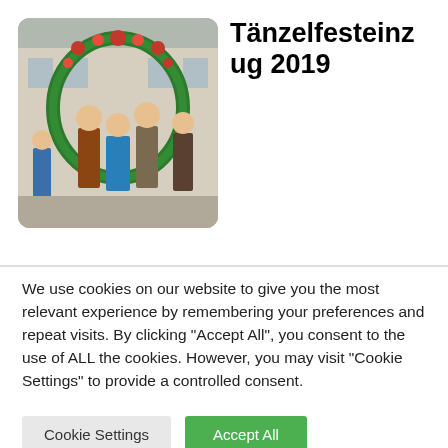[Figure (photo): Photo of people in traditional Bavarian clothing (Lederhosen and Dirndl) standing under a flower-decorated arch, likely at the Tänzelfest parade 2019.]
Tänzelfesteinzug 2019
We use cookies on our website to give you the most relevant experience by remembering your preferences and repeat visits. By clicking "Accept All", you consent to the use of ALL the cookies. However, you may visit "Cookie Settings" to provide a controlled consent.